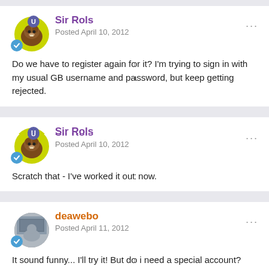Sir Rols
Posted April 10, 2012
Do we have to register again for it? I'm trying to sign in with my usual GB username and password, but keep getting rejected.
Sir Rols
Posted April 10, 2012
Scratch that - I've worked it out now.
deawebo
Posted April 11, 2012
It sound funny... I'll try it! But do i need a special account?